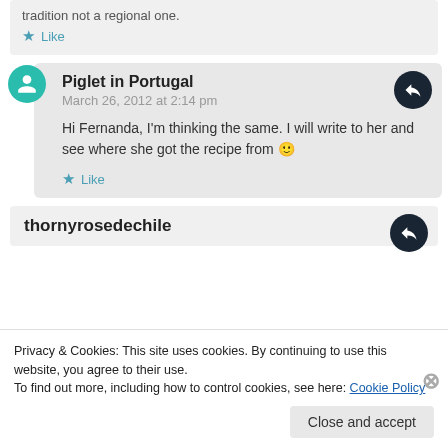tradition not a regional one.
Like
Piglet in Portugal
March 26, 2012 at 2:14 pm
Hi Fernanda, I'm thinking the same. I will write to her and see where she got the recipe from 🙂
Like
thornyrosedechile
Privacy & Cookies: This site uses cookies. By continuing to use this website, you agree to their use.
To find out more, including how to control cookies, see here: Cookie Policy
Close and accept